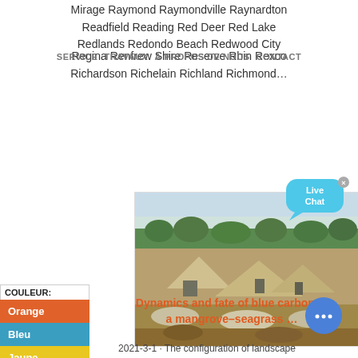Mirage Raymond Raymondville Raynardton Readfield Reading Red Deer Red Lake Redlands Redondo Beach Redwood City Regina Renfrew Shire Reserve Rhin Rexco Richardson Richelain Richland Richmond…
SERVICE  TRAVAUX  À PROPOS DE NOUS  CONTACT
[Figure (photo): Aerial/elevated view of an open quarry or mining site with machinery, gravel piles, and vegetation in the background under a hazy sky]
Dynamics and fate of blue carbon in a mangrove–seagrass …
2021-3-1 · The configuration of landscape
COULEUR:
Orange
Bleu
Jaune